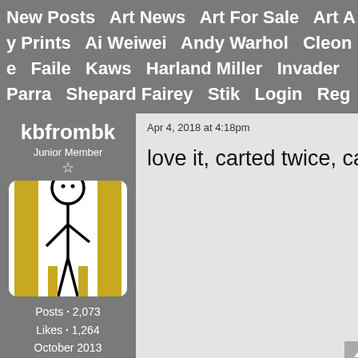New Posts   Art News   Art For Sale   Art A  y Prints   Ai Weiwei   Andy Warhol   Cleon  e   Faile   Kaws   Harland Miller   Invader  Parra   Shepard Fairey   Stik   Login   Reg
kbfrombk
Junior Member
[Figure (illustration): Stik-style stick figure illustration on yellow and white vertical stripe background. Simple stick figure with round head, black outlines, standing upright with one arm slightly raised.]
Posts • 2,073
Likes • 1,264
October 2013
Apr 4, 2018 at 4:18pm
love it, carted twice, ca